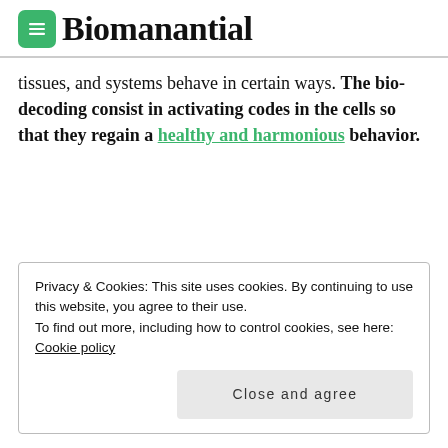Biomanantial
tissues, and systems behave in certain ways. The bio-decoding consist in activating codes in the cells so that they regain a healthy and harmonious behavior.
Privacy & Cookies: This site uses cookies. By continuing to use this website, you agree to their use.
To find out more, including how to control cookies, see here: Cookie policy